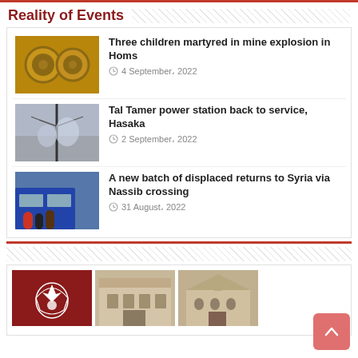Reality of Events
[Figure (photo): Close-up of cylindrical mine/explosive devices]
Three children martyred in mine explosion in Homs
4 September، 2022
[Figure (photo): Power line or antenna against cloudy sky]
Tal Tamer power station back to service, Hasaka
2 September، 2022
[Figure (photo): People boarding a bus, displaced persons]
A new batch of displaced returns to Syria via Nassib crossing
31 August، 2022
[Figure (photo): Syrian eagle emblem on red background]
[Figure (photo): Government building exterior]
[Figure (photo): Historic stone building exterior]